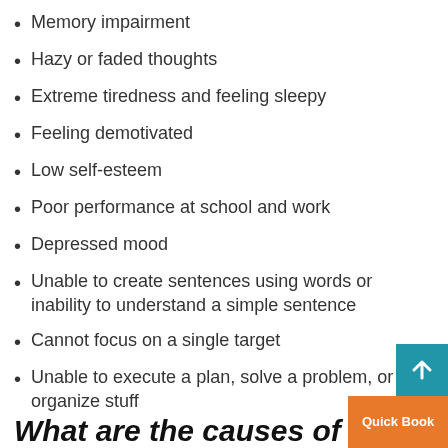Memory impairment
Hazy or faded thoughts
Extreme tiredness and feeling sleepy
Feeling demotivated
Low self-esteem
Poor performance at school and work
Depressed mood
Unable to create sentences using words or inability to understand a simple sentence
Cannot focus on a single target
Unable to execute a plan, solve a problem, or organize stuff
What are the causes of b…